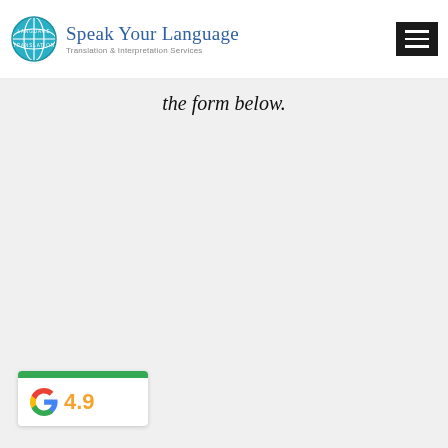[Figure (logo): Speak Your Language - Translation & Interpretation Services logo with globe icon and hamburger menu button]
the form below.
[Figure (infographic): Google rating widget showing 4.9 stars with green bar at top]